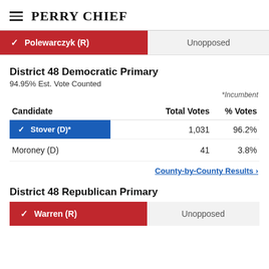PERRY CHIEF
Polewarczyk (R) — Unopposed
District 48 Democratic Primary
94.95% Est. Vote Counted
*Incumbent
| Candidate | Total Votes | % Votes |
| --- | --- | --- |
| ✓ Stover (D)* | 1,031 | 96.2% |
| Moroney (D) | 41 | 3.8% |
County-by-County Results ›
District 48 Republican Primary
Warren (R) — Unopposed